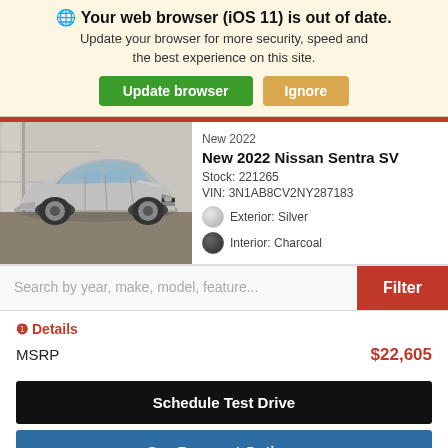🌐 Your web browser (iOS 11) is out of date. Update your browser for more security, speed and the best experience on this site.
Update browser
Ignore
[Figure (photo): Photo of a silver 2022 Nissan Sentra SV parked in front of a building]
New 2022
New 2022 Nissan Sentra SV
Stock: 221265
VIN: 3N1AB8CV2NY287183
Exterior: Silver
Interior: Charcoal
Search by year, make, model, feature...
Filter
❶Details
MSRP
$22,605
Schedule Test Drive
See Payment Options
Shop Berman Express